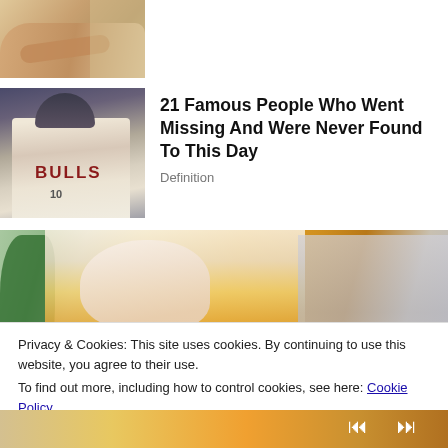[Figure (photo): Cropped photo of hands, partial view at top of page]
[Figure (photo): Photo of a man in a Chicago Bulls basketball jersey and cap, smiling]
21 Famous People Who Went Missing And Were Never Found To This Day
Definition
[Figure (photo): Photo of a blonde woman in a yellow sweater looking down, appearing stressed]
Privacy & Cookies: This site uses cookies. By continuing to use this website, you agree to their use.
To find out more, including how to control cookies, see here: Cookie Policy
Close and accept
[Figure (photo): Partial bottom strip showing another image with media playback controls]